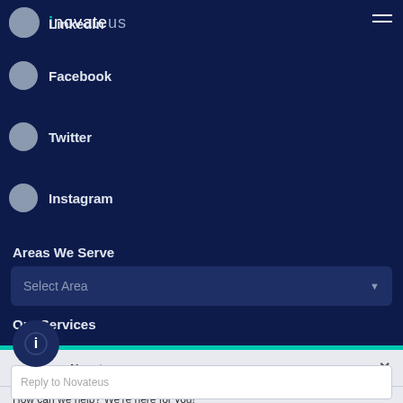[Figure (logo): Novateus logo with teal accent and circular avatar]
LinkedIn
Facebook
Twitter
Instagram
Areas We Serve
Select Area
Our Services
Novateus
How can we help? We're here for you!
Reply to Novateus
© 2022. Novateus, LLC. All rights reserved